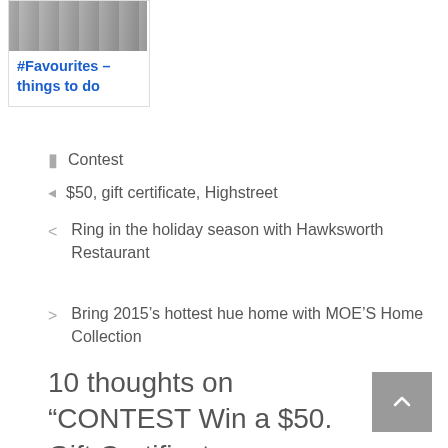[Figure (photo): Small card with photo thumbnail at top and blue linked title text '#Favourites – things to do']
Contest
$50, gift certificate, Highstreet
Ring in the holiday season with Hawksworth Restaurant
Bring 2015's hottest hue home with MOE'S Home Collection
10 thoughts on “CONTEST Win a $50. Gift Certificate compliments of Highstreet”